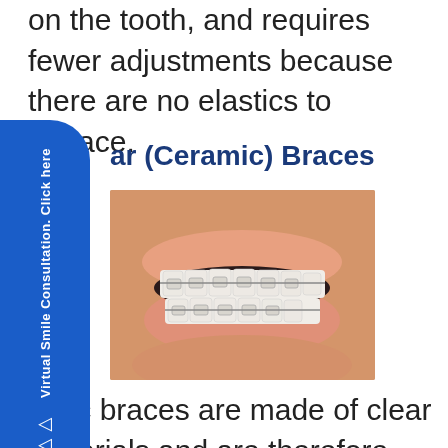on the tooth, and requires fewer adjustments because there are no elastics to replace.
ar (Ceramic) Braces
[Figure (photo): Close-up photo of a person's mouth showing ceramic/clear braces on upper and lower teeth]
amic braces are made of clear materials and are therefore less visible on your teeth than metal braces. For this reason, ceramic braces are used